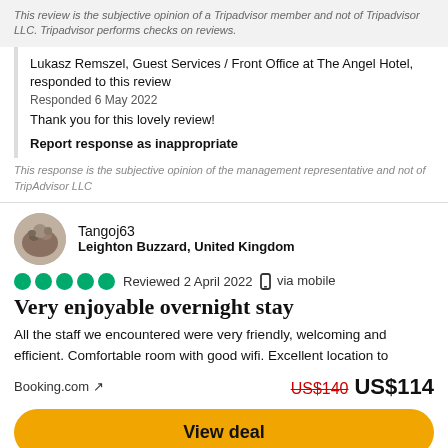This review is the subjective opinion of a Tripadvisor member and not of Tripadvisor LLC. Tripadvisor performs checks on reviews.
Lukasz Remszel, Guest Services / Front Office at The Angel Hotel, responded to this review
Responded 6 May 2022
Thank you for this lovely review!
Report response as inappropriate
This response is the subjective opinion of the management representative and not of TripAdvisor LLC
Tangoj63
Leighton Buzzard, United Kingdom
Reviewed 2 April 2022  via mobile
Very enjoyable overnight stay
All the staff we encountered were very friendly, welcoming and efficient. Comfortable room with good wifi. Excellent location to
Booking.com ↗
US$140  US$114
View deal